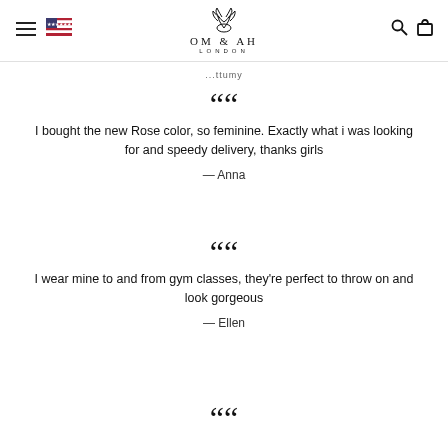Om & Ah London — navigation header with logo, menu, flag, search, and cart icons
...ttumy
““ I bought the new Rose color, so feminine. Exactly what i was looking for and speedy delivery, thanks girls — Anna
““ I wear mine to and from gym classes, they're perfect to throw on and look gorgeous — Ellen
““